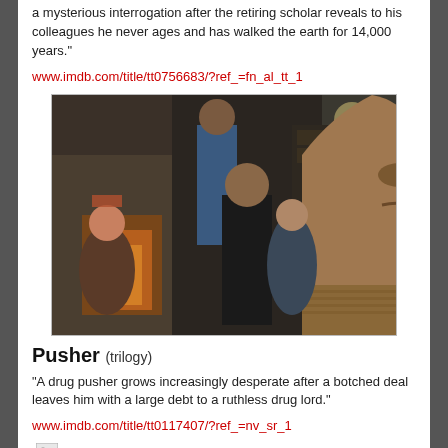a mysterious interrogation after the retiring scholar reveals to his colleagues he never ages and has walked the earth for 14,000 years."
www.imdb.com/title/tt0756683/?ref_=fn_al_tt_1
[Figure (photo): Group photo of cast members from a film, posed in an indoor setting with a stone fireplace in the background. Several people of varying ages are arranged in a group.]
Pusher (trilogy)
"A drug pusher grows increasingly desperate after a botched deal leaves him with a large debt to a ruthless drug lord."
www.imdb.com/title/tt0117407/?ref_=nv_sr_1
[Figure (photo): Broken/missing image placeholder]
Hate